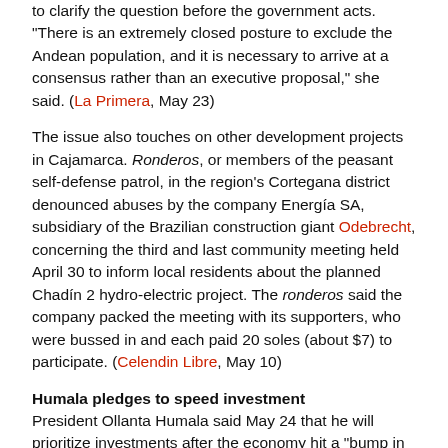to clarify the question before the government acts. "There is an extremely closed posture to exclude the Andean population, and it is necessary to arrive at a consensus rather than an executive proposal," she said. (La Primera, May 23)
The issue also touches on other development projects in Cajamarca. Ronderos, or members of the peasant self-defense patrol, in the region's Cortegana district denounced abuses by the company Energía SA, subsidiary of the Brazilian construction giant Odebrecht, concerning the third and last community meeting held April 30 to inform local residents about the planned Chadín 2 hydro-electric project. The ronderos said the company packed the meeting with its supporters, who were bussed in and each paid 20 soles (about $7) to participate. (Celendin Libre, May 10)
Humala pledges to speed investment
President Ollanta Humala said May 24 that he will prioritize investments after the economy hit a "bump in the road" with unexpectedly slow growth in the first quarter of 2013. "We have decided to declare investments in the country to be of national interest," Humala told reporters. The president faced pressure from the international media in April after his administration said it was considering buying a stake in the Peruvian assets of Spanish